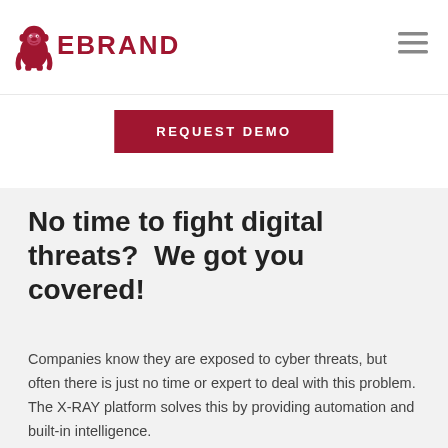[Figure (logo): EBRAND logo with gorilla icon and red text]
[Figure (other): Hamburger menu icon (three horizontal lines)]
REQUEST DEMO
No time to fight digital threats?  We got you covered!
Companies know they are exposed to cyber threats, but often there is just no time or expert to deal with this problem.
The X-RAY platform solves this by providing automation and built-in intelligence.